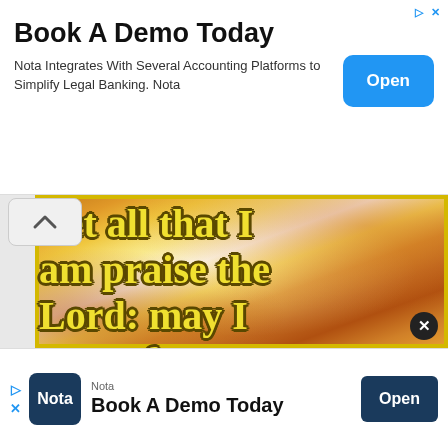[Figure (screenshot): Top advertisement banner: 'Book A Demo Today' - Nota Integrates With Several Accounting Platforms to Simplify Legal Banking. Nota. Open button in blue.]
[Figure (photo): Inspirational religious quote image with autumn leaf background and sunlight. Text reads: 'Let all that I am praise the Lord: may I never forget the good things He...' in yellow outlined font.]
[Figure (screenshot): Bottom advertisement banner for Nota: 'Book A Demo Today' with dark blue Open button.]